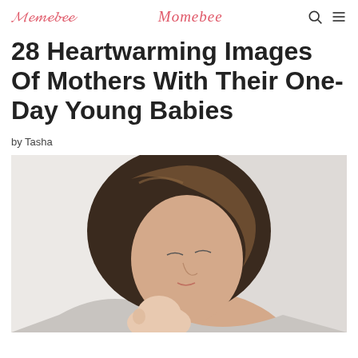Momebee
28 Heartwarming Images Of Mothers With Their One-Day Young Babies
by Tasha
[Figure (photo): A woman with a brown bob haircut looking down tenderly, holding a newborn baby against her chest. The background is a light gray/white studio backdrop.]